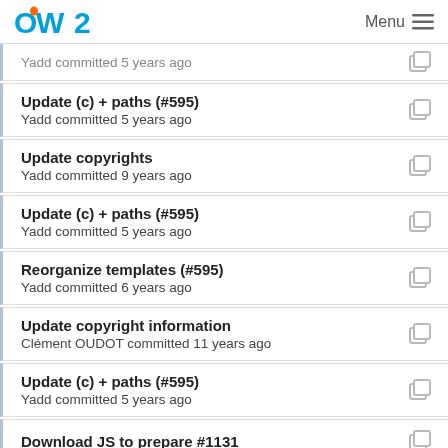OW2 | Menu
Yadd committed 5 years ago
Update (c) + paths (#595)
Yadd committed 5 years ago
Update copyrights
Yadd committed 9 years ago
Update (c) + paths (#595)
Yadd committed 5 years ago
Reorganize templates (#595)
Yadd committed 6 years ago
Update copyright information
Clément OUDOT committed 11 years ago
Update (c) + paths (#595)
Yadd committed 5 years ago
Download JS to prepare #1131